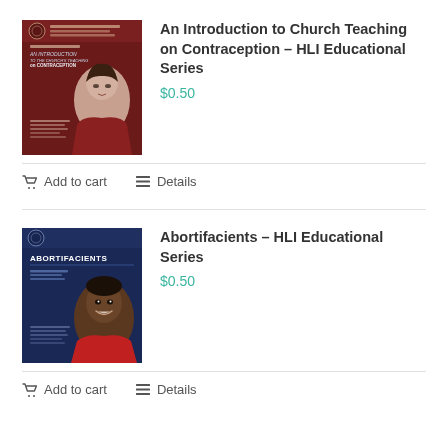[Figure (illustration): Book cover: An Introduction to Church Teaching on Contraception – HLI Educational Series. Dark red cover with a woman's face and text.]
An Introduction to Church Teaching on Contraception – HLI Educational Series
$0.50
Add to cart   Details
[Figure (illustration): Book cover: Abortifacients – HLI Educational Series. Dark blue cover with a person's face and text.]
Abortifacients – HLI Educational Series
$0.50
Add to cart   Details